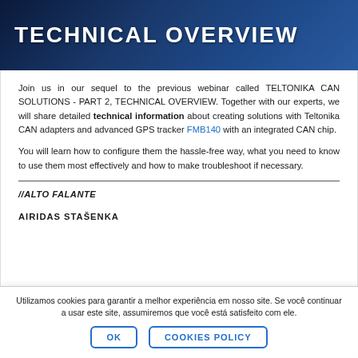TECHNICAL OVERVIEW
Join us in our sequel to the previous webinar called TELTONIKA CAN SOLUTIONS - PART 2, TECHNICAL OVERVIEW. Together with our experts, we will share detailed technical information about creating solutions with Teltonika CAN adapters and advanced GPS tracker FMB140 with an integrated CAN chip.
You will learn how to configure them the hassle-free way, what you need to know to use them most effectively and how to make troubleshoot if necessary.
//ALTO FALANTE
AIRIDAS STAŠENKA
Utilizamos cookies para garantir a melhor experiência em nosso site. Se você continuar a usar este site, assumiremos que você está satisfeito com ele.